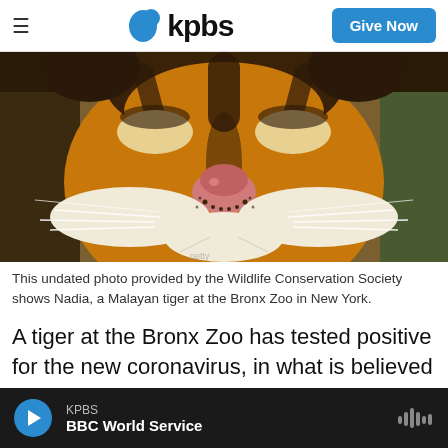KPBS | Give Now
[Figure (photo): Close-up photograph of a Malayan tiger's face showing stripes, nose, and whiskers.]
This undated photo provided by the Wildlife Conservation Society shows Nadia, a Malayan tiger at the Bronx Zoo in New York.
A tiger at the Bronx Zoo has tested positive for the new coronavirus, in what is believed to be the first known infection in an animal in the U.S. or a tiger.
KPBS  BBC World Service